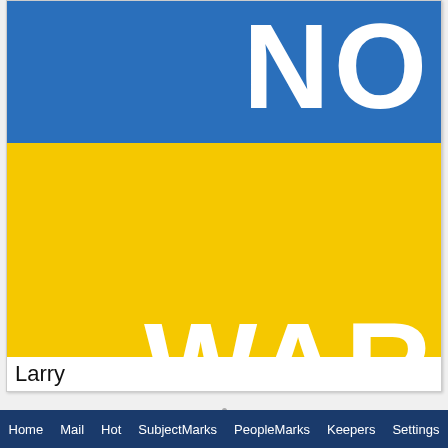[Figure (illustration): A graphic showing 'NO WAR' text on a blue and yellow background resembling the Ukrainian flag colors. 'NO' appears in white bold text on the blue upper band, and 'WAR' appears in white bold text on the yellow lower band.]
Larry
Home   Mail   Hot   SubjectMarks   PeopleMarks   Keepers   Settings